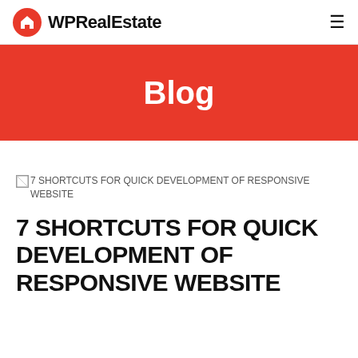WPRealEstate
Blog
[Figure (illustration): Broken image placeholder for '7 SHORTCUTS FOR QUICK DEVELOPMENT OF RESPONSIVE WEBSITE']
7 SHORTCUTS FOR QUICK DEVELOPMENT OF RESPONSIVE WEBSITE